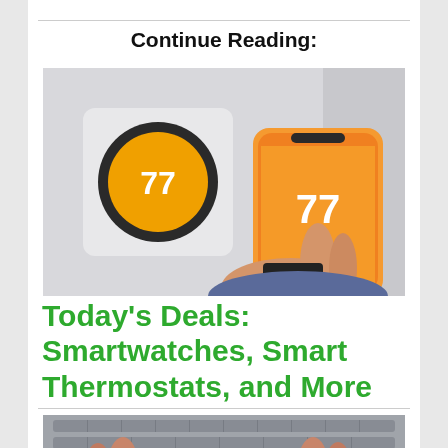Continue Reading:
[Figure (photo): A hand holding a smartphone with an orange thermostat app showing 77 degrees, next to a Nest smart thermostat mounted on a white wall]
Today's Deals: Smartwatches, Smart Thermostats, and More
[Figure (photo): A hand wearing a smartwatch near a laptop keyboard]